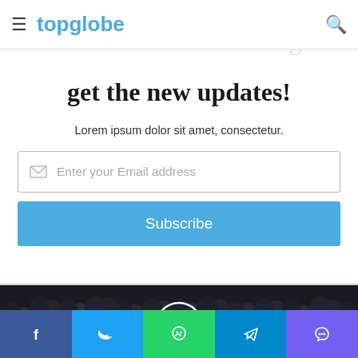topglobe
get the new updates!
Lorem ipsum dolor sit amet, consectetur.
Enter your Email address
Subscribe
[Figure (photo): Large crowd of people wearing masks, dark tones, with a circular left-navigation arrow overlay in the center]
[Figure (infographic): Social sharing bar with Facebook, Twitter, WhatsApp, Telegram, and Viber icons]